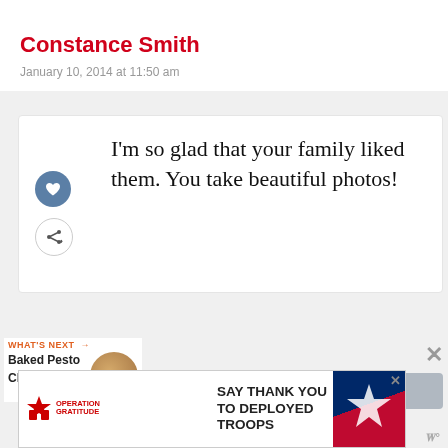Constance Smith
January 10, 2014 at 11:50 am
I'm so glad that your family liked them. You take beautiful photos!
WHAT'S NEXT → Baked Pesto Chicken
Reply
[Figure (infographic): Operation Gratitude advertisement banner: SAY THANK YOU TO DEPLOYED TROOPS]
SAY THANK YOU TO DEPLOYED TROOPS